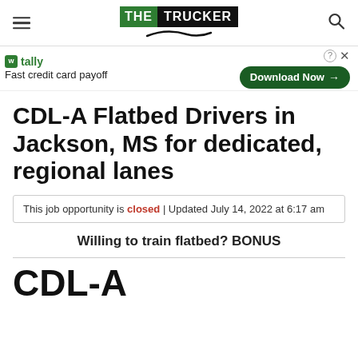THE TRUCKER
[Figure (illustration): Tally fast credit card payoff advertisement banner with Download Now button]
CDL-A Flatbed Drivers in Jackson, MS for dedicated, regional lanes
This job opportunity is closed | Updated July 14, 2022 at 6:17 am
Willing to train flatbed? BONUS
CDL-A